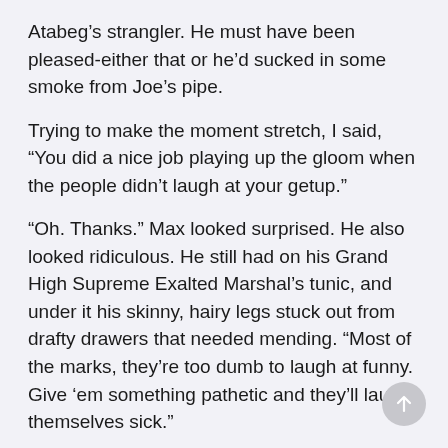Atabeg’s strangler. He must have been pleased-either that or he’d sucked in some smoke from Joe’s pipe.
Trying to make the moment stretch, I said, “You did a nice job playing up the gloom when the people didn’t laugh at your getup.”
“Oh. Thanks.” Max looked surprised. He also looked ridiculous. He still had on his Grand High Supreme Exalted Marshal’s tunic, and under it his skinny, hairy legs stuck out from drafty drawers that needed mending. “Most of the marks, they’re too dumb to laugh at funny. Give ‘em something pathetic and they’ll laugh themselves sick.”